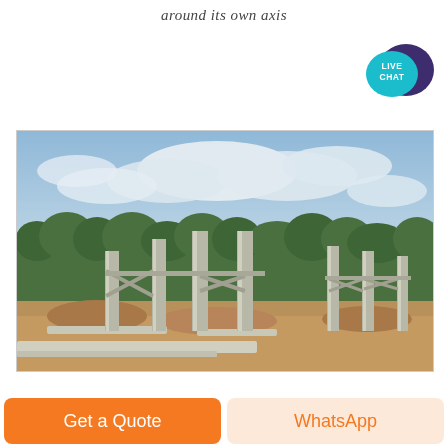around its own axis
[Figure (photo): Construction site showing concrete columns/pillars rising from foundations with diagonal steel bracing, trees and cloudy sky in the background, dirt ground in foreground]
Get a Quote
WhatsApp